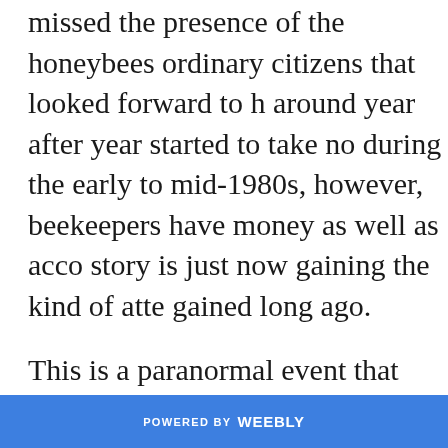missed the presence of the honeybees ordinary citizens that looked forward to having them around year after year started to take notice. It was during the early to mid-1980s, however, that most beekeepers have money as well as access and the story is just now gaining the kind of attention it gained long ago.
This is a paranormal event that most people are at the level of paranormal consciousness.
Now the fact that various acts of nature
POWERED BY weebly